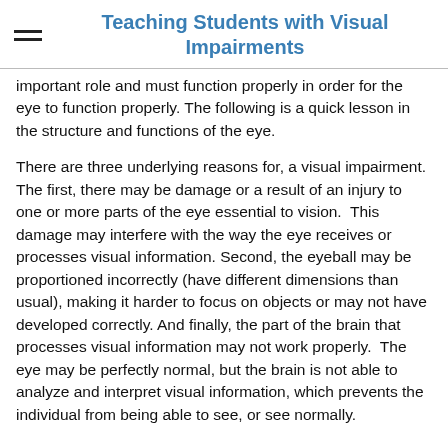Teaching Students with Visual Impairments
important role and must function properly in order for the eye to function properly. The following is a quick lesson in the structure and functions of the eye.
There are three underlying reasons for, a visual impairment. The first, there may be damage or a result of an injury to one or more parts of the eye essential to vision.  This damage may interfere with the way the eye receives or processes visual information. Second, the eyeball may be proportioned incorrectly (have different dimensions than usual), making it harder to focus on objects or may not have developed correctly. And finally, the part of the brain that processes visual information may not work properly.  The eye may be perfectly normal, but the brain is not able to analyze and interpret visual information, which prevents the individual from being able to see, or see normally.